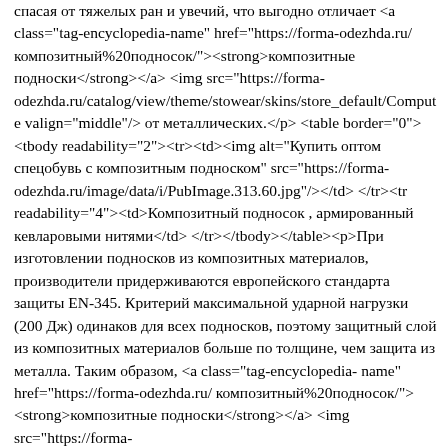спасая от тяжелых ран и увечий, что выгодно отличает <a class="tag-encyclopedia-name" href="https://forma-odezhda.ru/композитный%20подносок/"><strong>композитные подноски</strong></a> <img src="https://forma-odezhda.ru/catalog/view/theme/stowear/skins/store_default/Compute valign="middle"/> от металлических.</p> <table border="0"> <tbody readability="2"><tr><td><img alt="Купить оптом спецобувь с композитным подноском" src="https://forma-odezhda.ru/image/data/i/PubImage.313.60.jpg"/></td> </tr><tr readability="4"><td>Композитный подносок , армированный кевларовыми нитями</td> </tr></tbody></table><p>При изготовлении подносков из композитных материалов, производители придерживаются европейского стандарта защиты EN-345. Критерий максимальной ударной нагрузки (200 Дж) одинаков для всех подносков, поэтому защитный слой из композитных материалов больше по толщине, чем защита из металла. Таким образом, <a class="tag-encyclopedia-name" href="https://forma-odezhda.ru/композитный%20подносок/"><strong>композитные подноски</strong></a> <img src="https://forma-odezhda.ru/catalog/view/theme/stowear/skins/store_default/Compute valign="middle"/> занимают много полезного места внутри колодки ботинка, что ограничивает производителей спецобуви в использовании материалов, положительно влияющих на комфортное ношение рабочих ботинок. Однако, если подносок армирован кевларовыми нитями, то его объем становится